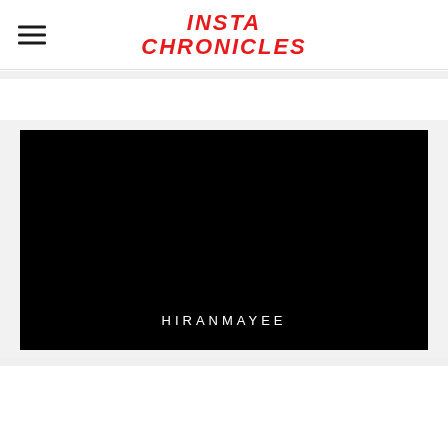INSTA CHRONICLES
[Figure (screenshot): Black video frame with white uppercase text 'HIRANMAYEE' centered near the bottom]